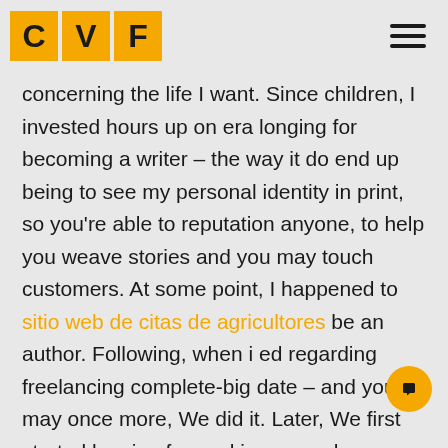CVF
concerning the life I want. Since children, I invested hours up on era longing for becoming a writer – the way it do end up being to see my personal identity in print, so you're able to reputation anyone, to help you weave stories and you may touch customers. At some point, I happened to sitio web de citas de agricultores be an author. Following, when i ed regarding freelancing complete-big date – and you may once more, We did it. Later, We first started longing for packing up and transferring to another type of region, a method I'm indeed in the middle of today.
You will find questioned the way it do getting are